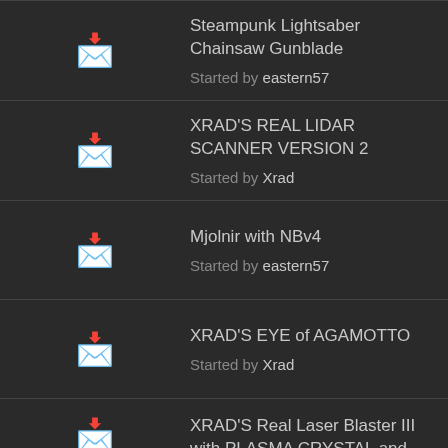Steampunk Lightsaber Chainsaw Gunblade
Started by eastern57
XRAD'S REAL LIDAR SCANNER VERSION 2
Started by Xrad
Mjolnir with NBv4
Started by eastern57
XRAD'S EYE of AGAMOTTO
Started by Xrad
XRAD'S Real Laser Blaster III with PLASMA CRYSTAL and LIDAR Scanner